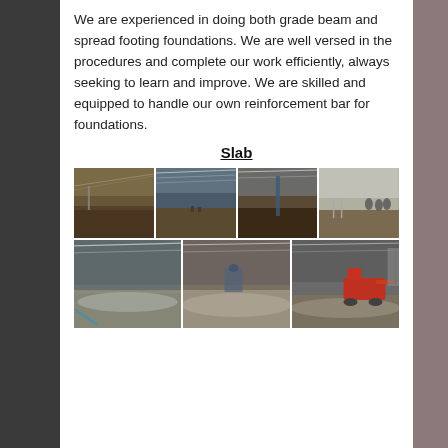We are experienced in doing both grade beam and spread footing foundations. We are well versed in the procedures and complete our work efficiently, always seeking to learn and improve. We are skilled and equipped to handle our own reinforcement bar for foundations.
Slab
[Figure (photo): Grid of 7 construction site photos showing large warehouse/barn interiors at different stages: soil preparation stages (top 4 photos) and completed/nearly completed concrete slab floors (bottom 3 photos), including a troweling machine in the last photo.]